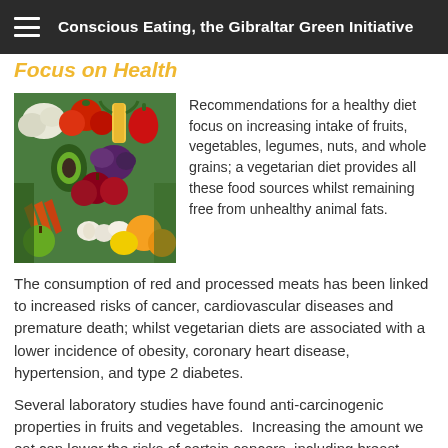Conscious Eating, the Gibraltar Green Initiative
Focus on Health
[Figure (photo): Colorful assortment of fresh fruits and vegetables including tomatoes, red peppers, corn, avocado, apples, carrots, garlic, mushrooms, and citrus fruits.]
Recommendations for a healthy diet focus on increasing intake of fruits, vegetables, legumes, nuts, and whole grains; a vegetarian diet provides all these food sources whilst remaining free from unhealthy animal fats.
The consumption of red and processed meats has been linked to increased risks of cancer, cardiovascular diseases and premature death; whilst vegetarian diets are associated with a lower incidence of obesity, coronary heart disease, hypertension, and type 2 diabetes.
Several laboratory studies have found anti-carcinogenic properties in fruits and vegetables.  Increasing the amount we eat can lower the risks of certain cancers, including breast